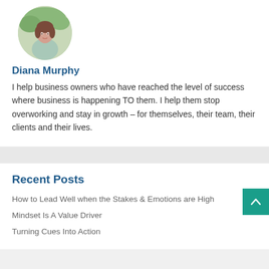[Figure (photo): Circular profile photo of Diana Murphy, a woman in a light blue floral top, outdoors with greenery in background]
Diana Murphy
I help business owners who have reached the level of success where business is happening TO them. I help them stop overworking and stay in growth – for themselves, their team, their clients and their lives.
Recent Posts
How to Lead Well when the Stakes & Emotions are High
Mindset Is A Value Driver
Turning Cues Into Action